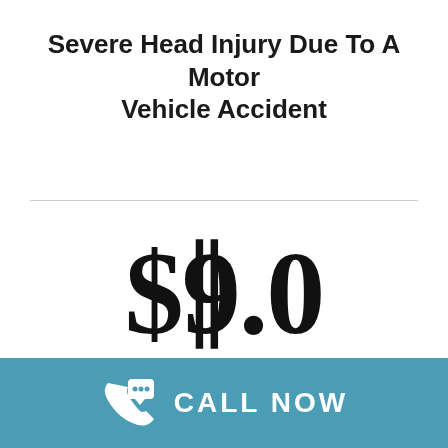Severe Head Injury Due To A Motor Vehicle Accident
$9.0
CALL NOW